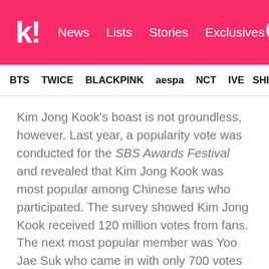k! News Lists Stories Exclusives
BTS TWICE BLACKPINK aespa NCT IVE SHIN
Kim Jong Kook's boast is not groundless, however. Last year, a popularity vote was conducted for the SBS Awards Festival and revealed that Kim Jong Kook was most popular among Chinese fans who participated. The survey showed Kim Jong Kook received 120 million votes from fans. The next most popular member was Yoo Jae Suk who came in with only 700 votes surprising the MCs and the guests and proving Kim Jong Kook's overwhelming popularity in China.
The singer and variety personality went on to